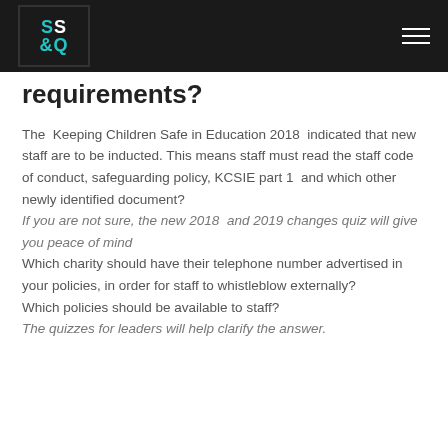SS&Q logo and navigation bar
requirements?
The Keeping Children Safe in Education 2018 indicated that new staff are to be inducted. This means staff must read the staff code of conduct, safeguarding policy, KCSIE part 1 and which other newly identified document?
If you are not sure, the new 2018 and 2019 changes quiz will give you peace of mind
Which charity should have their telephone number advertised in your policies, in order for staff to whistleblow externally?
Which policies should be available to staff?
The quizzes for leaders will help clarify the answer.